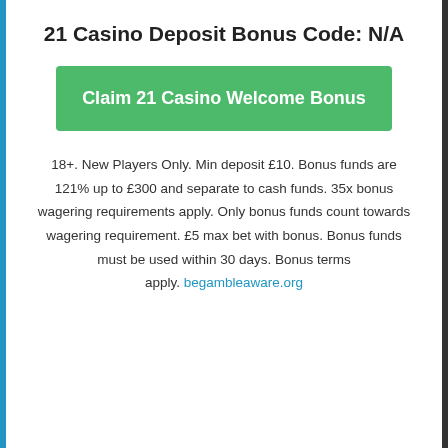21 Casino Deposit Bonus Code: N/A
[Figure (other): Green button: Claim 21 Casino Welcome Bonus]
18+. New Players Only. Min deposit £10. Bonus funds are 121% up to £300 and separate to cash funds. 35x bonus wagering requirements apply. Only bonus funds count towards wagering requirement. £5 max bet with bonus. Bonus funds must be used within 30 days. Bonus terms apply. begambleaware.org